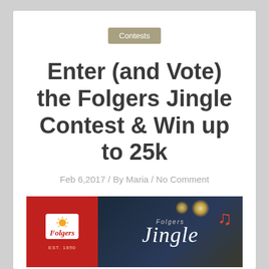Contests
Enter (and Vote) the Folgers Jingle Contest & Win up to 25k
Feb 6,2017 / By Maria / No Comment
[Figure (photo): Folgers Jingle Contest promotional image with Folgers logo on red background on the left and cursive 'Jingle' text on dark background with music note and warm light glows on the right]